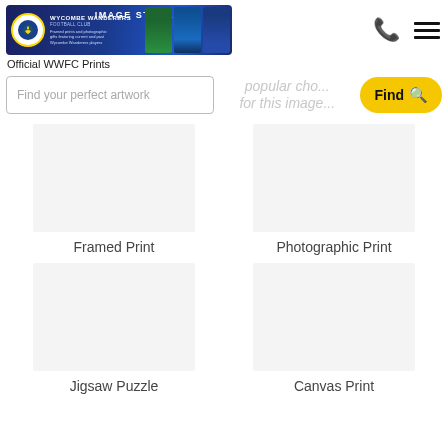[Figure (logo): Wycombe Wanderers Football Club Image Store banner with logo, photos of players and pitch]
Official WWFC Prints
Find your perfect artwork
popular cho... for this image...
Find
Framed Print
Photographic Print
Jigsaw Puzzle
Canvas Print